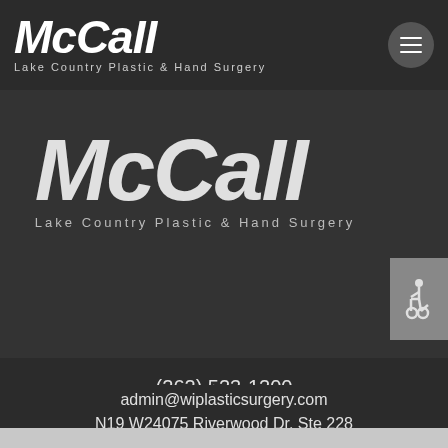[Figure (logo): McCall Lake Country Plastic & Hand Surgery logo in header bar, white italic text on dark background]
[Figure (other): Hamburger menu button (three horizontal lines) in a circular dark button, top right]
[Figure (logo): Large centered McCall Lake Country Plastic & Hand Surgery logo, light text on dark gray background]
[Figure (other): Accessibility wheelchair icon button on right side, gray background]
(262) 523-1200
admin@wiplasticsurgery.com
N19 W24075 Riverwood Dr, Ste 228